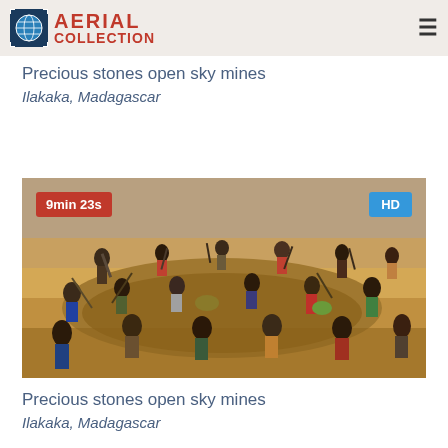AERIAL COLLECTION
Precious stones open sky mines
Ilakaka, Madagascar
[Figure (photo): Aerial/overhead view of workers digging at an open sky mine in Ilakaka, Madagascar. Many people visible shoveling sandy/earthy terrain. Red badge showing '9min 23s' in top-left corner, blue 'HD' badge in top-right corner.]
Precious stones open sky mines
Ilakaka, Madagascar